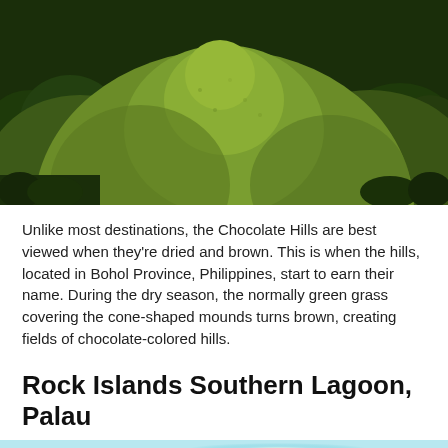[Figure (photo): A large green cone-shaped hill covered in dense grass and vegetation, the Chocolate Hills in Bohol Province, Philippines. The sky and surrounding dark green trees are visible in the background.]
Unlike most destinations, the Chocolate Hills are best viewed when they're dried and brown. This is when the hills, located in Bohol Province, Philippines, start to earn their name. During the dry season, the normally green grass covering the cone-shaped mounds turns brown, creating fields of chocolate-colored hills.
Rock Islands Southern Lagoon, Palau
[Figure (photo): A turquoise ocean lagoon with small rocky forested islands visible in the distance under a bright sky, Rock Islands Southern Lagoon, Palau.]